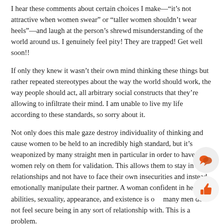I hear these comments about certain choices I make—“it’s not attractive when women swear” or “taller women shouldn’t wear heels”—and laugh at the person’s shrewd misunderstanding of the world around us. I genuinely feel pity! They are trapped! Get well soon!!
If only they knew it wasn’t their own mind thinking these things but rather repeated stereotypes about the way the world should work, the way people should act, all arbitrary social constructs that they’re allowing to infiltrate their mind. I am unable to live my life according to these standards, so sorry about it.
Not only does this male gaze destroy individuality of thinking and cause women to be held to an incredibly high standard, but it’s weaponized by many straight men in particular in order to have women rely on them for validation. This allows them to stay in relationships and not have to face their own insecurities and instead emotionally manipulate their partner. A woman confident in her own abilities, sexuality, appearance, and existence is one many men do not feel secure being in any sort of relationship with. This is a problem.
I assumed internalized male gaze only impacted people who didn’t identify as